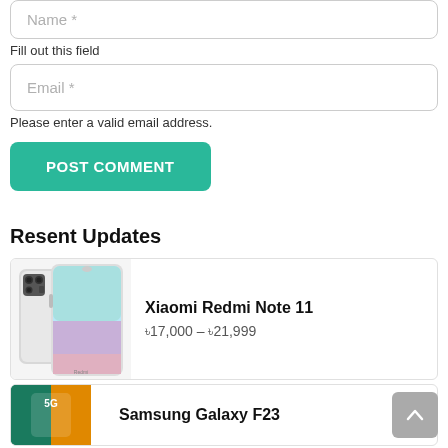Name *
Fill out this field
Email *
Please enter a valid email address.
POST COMMENT
Resent Updates
[Figure (photo): Xiaomi Redmi Note 11 smartphone product image showing back and front views]
Xiaomi Redmi Note 11
৳17,000 – ৳21,999
[Figure (photo): Samsung Galaxy F23 5G smartphone product image]
Samsung Galaxy F23